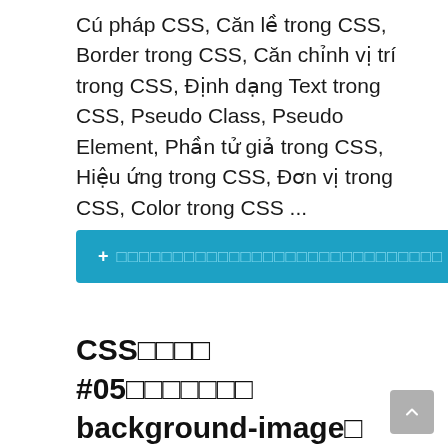Cú pháp CSS, Căn lề trong CSS, Border trong CSS, Căn chỉnh vị trí trong CSS, Định dạng Text trong CSS, Pseudo Class, Pseudo Element, Phần tử giả trong CSS, Hiệu ứng trong CSS, Đơn vị trong CSS, Color trong CSS ...
[Figure (other): Teal/blue button with a plus sign and a row of small square characters]
CSS□□□□ #05□□□□□□□ background-image□ background-repeat□ background-position□ background-size 2022